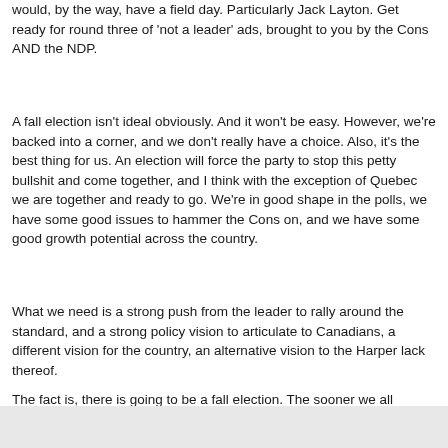would, by the way, have a field day. Particularly Jack Layton. Get ready for round three of 'not a leader' ads, brought to you by the Cons AND the NDP.
A fall election isn't ideal obviously. And it won't be easy. However, we're backed into a corner, and we don't really have a choice. Also, it's the best thing for us. An election will force the party to stop this petty bullshit and come together, and I think with the exception of Quebec we are together and ready to go. We're in good shape in the polls, we have some good issues to hammer the Cons on, and we have some good growth potential across the country.
What we need is a strong push from the leader to rally around the standard, and a strong policy vision to articulate to Canadians, a different vision for the country, an alternative vision to the Harper lack thereof.
The fact is, there is going to be a fall election. The sooner we all accept that and get to work, the better.